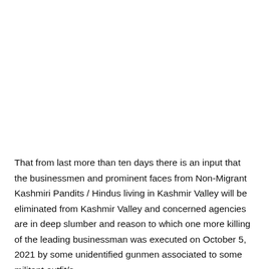That from last more than ten days there is an input that the businessmen and prominent faces from Non-Migrant Kashmiri Pandits / Hindus living in Kashmir Valley will be eliminated from Kashmir Valley and concerned agencies are in deep slumber and reason to which one more killing of the leading businessman was executed on October 5, 2021 by some unidentified gunmen associated to some militant outfit/s.